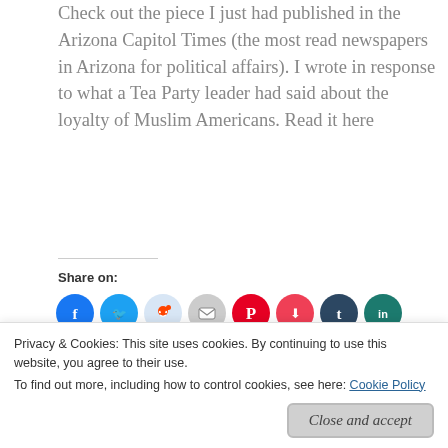Check out the piece I just had published in the Arizona Capitol Times (the most read newspapers in Arizona for political affairs). I wrote in response to what a Tea Party leader had said about the loyalty of Muslim Americans. Read it here
Share on:
[Figure (other): Row of social media share icon circles: Facebook (blue), Twitter (blue), Reddit (light blue/grey), Email (grey), Pinterest (red), Pocket (red), Tumblr (dark blue), LinkedIn (dark teal), Skype (teal), Telegram (blue), WhatsApp (green), and a More button]
Like this:
Privacy & Cookies: This site uses cookies. By continuing to use this website, you agree to their use.
To find out more, including how to control cookies, see here: Cookie Policy
Close and accept